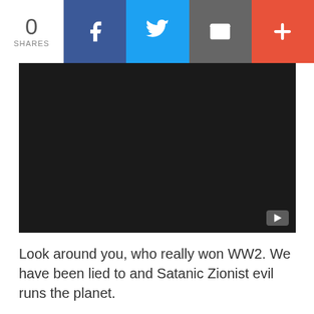0 SHARES
[Figure (screenshot): Black video player embed with a play button icon in the bottom-right corner]
Look around you, who really won WW2. We have been lied to and Satanic Zionist evil runs the planet.